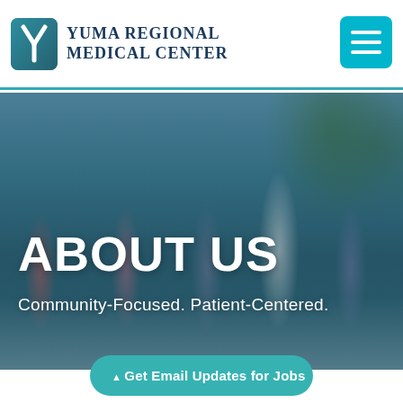[Figure (logo): Yuma Regional Medical Center logo with teal Y icon and serif text]
[Figure (photo): Group photo of medical staff (doctors, nurses, technicians) standing together outdoors with trees in background, teal overlay]
ABOUT US
Community-Focused. Patient-Centered.
▲ Get Email Updates for Jobs